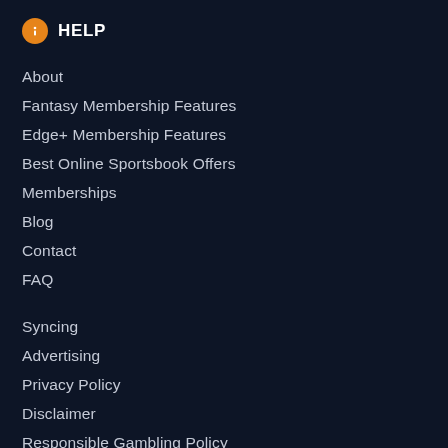HELP
About
Fantasy Membership Features
Edge+ Membership Features
Best Online Sportsbook Offers
Memberships
Blog
Contact
FAQ
Syncing
Advertising
Privacy Policy
Disclaimer
Responsible Gambling Policy
Syndicate Content
RSS Feeds